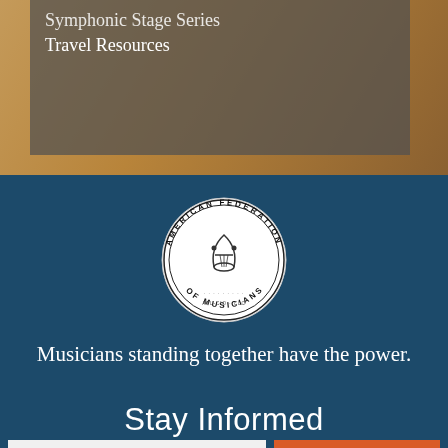Symphonic Stage Series
Travel Resources
[Figure (logo): American Federation of Musicians circular seal logo with lyre in center]
Musicians standing together have the power.
Stay Informed